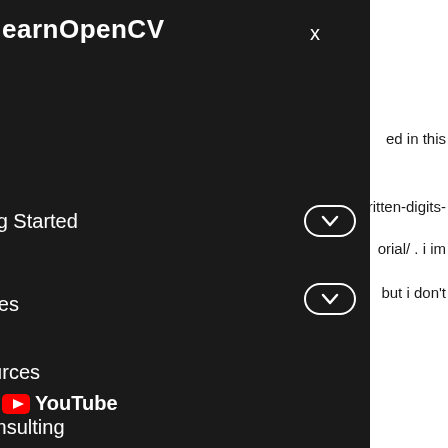earnOpenCV
x
me
tting Started
urses
sources
Consulting
out
YouTube
ed in this
ritten-digits-
orial/ . i im
but i don't